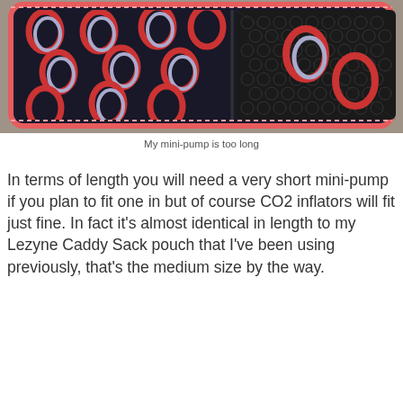[Figure (photo): Open zipper pouch/case with black fabric interior featuring red and white crescent/swoosh pattern, with mesh section on right side. Red/pink zipper border visible. Shot on concrete surface.]
My mini-pump is too long
In terms of length you will need a very short mini-pump if you plan to fit one in but of course CO2 inflators will fit just fine. In fact it's almost identical in length to my Lezyne Caddy Sack pouch that I've been using previously, that's the medium size by the way.